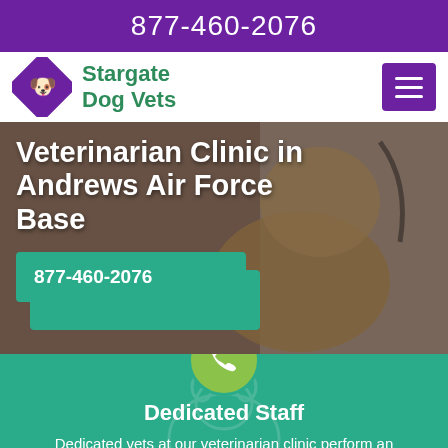877-460-2076
Stargate Dog Vets
[Figure (screenshot): Veterinarian holding a Cavalier King Charles Spaniel dog with stethoscope, background photo for hero section]
Veterinarian Clinic in Andrews Air Force Base
877-460-2076
Dedicated Staff
Dedicated vets at our veterinarian clinic perform an extensive range of veterinary services for pets, birds, and